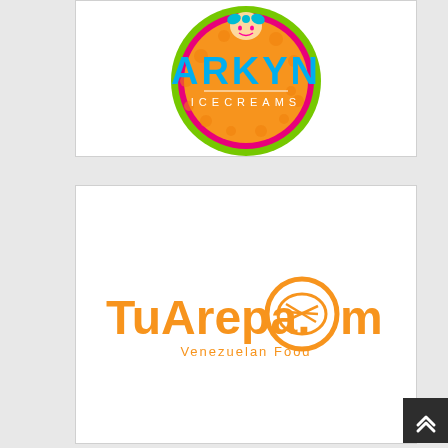[Figure (logo): Arkyn Icecreams circular logo with green outer ring, pink inner ring, orange background with polka dots, character at top, blue text ARKYN, and white text ICECREAMS]
[Figure (logo): TuArepa.com Venezuelan Food logo with orange text and stylized arepa/circle icon replacing the letter o in .com]